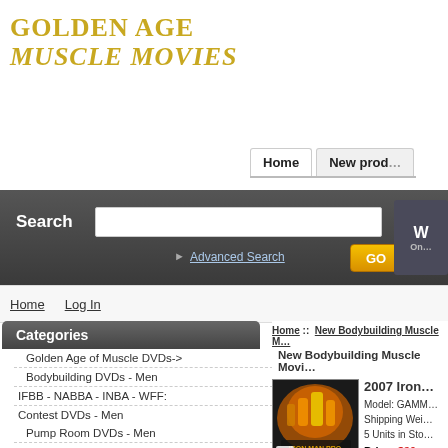GOLDEN AGE MUSCLE MOVIES
Home  New prod...
Search  [search box]  Advanced Search  GO
Home  Log In
Categories
Golden Age of Muscle DVDs->
Bodybuilding DVDs - Men
IFBB - NABBA - INBA - WFF: Contest DVDs - Men
Pump Room DVDs - Men
Men Of Muscle DVDs
IFBB Iron Man Pro DVDs
Battle For The IFBB Mr.
Olympia DVDs
Home :: New Bodybuilding Muscle M...
New Bodybuilding Muscle Movi...
[Figure (photo): DVD cover for 2007 Iron Man Pro with bodybuilders, orange tones]
2007 Iron ...
Model: GAMM... Shipping Wei... 5 Units in Sto...
Price:  $39....
Add to Cart: